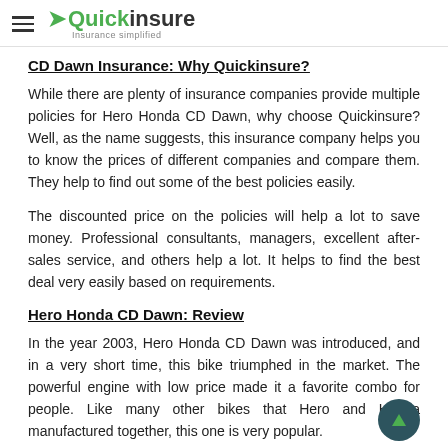Quickinsure — Insurance simplified
CD Dawn Insurance: Why Quickinsure?
While there are plenty of insurance companies provide multiple policies for Hero Honda CD Dawn, why choose Quickinsure? Well, as the name suggests, this insurance company helps you to know the prices of different companies and compare them. They help to find out some of the best policies easily.
The discounted price on the policies will help a lot to save money. Professional consultants, managers, excellent after-sales service, and others help a lot. It helps to find the best deal very easily based on requirements.
Hero Honda CD Dawn: Review
In the year 2003, Hero Honda CD Dawn was introduced, and in a very short time, this bike triumphed in the market. The powerful engine with low price made it a favorite combo for people. Like many other bikes that Hero and Honda manufactured together, this one is very popular.
Some of the best things about the bike include a heavy-duty engine,